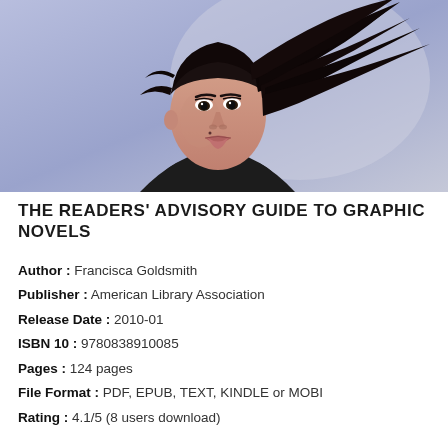[Figure (illustration): Comic/illustration style artwork showing a woman with long dark windswept hair against a purple/blue background, wearing a dark jacket, looking upward.]
THE READERS' ADVISORY GUIDE TO GRAPHIC NOVELS
Author : Francisca Goldsmith
Publisher : American Library Association
Release Date : 2010-01
ISBN 10 : 9780838910085
Pages : 124 pages
File Format : PDF, EPUB, TEXT, KINDLE or MOBI
Rating : 4.1/5 (8 users download)